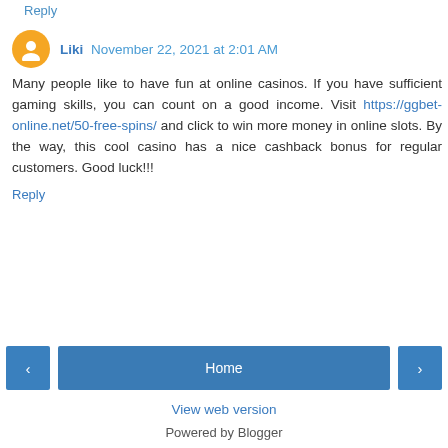Reply
Liki November 22, 2021 at 2:01 AM
Many people like to have fun at online casinos. If you have sufficient gaming skills, you can count on a good income. Visit https://ggbet-online.net/50-free-spins/ and click to win more money in online slots. By the way, this cool casino has a nice cashback bonus for regular customers. Good luck!!!
Reply
Home
View web version
Powered by Blogger